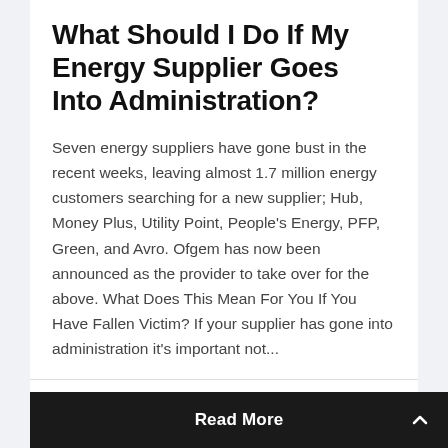What Should I Do If My Energy Supplier Goes Into Administration?
Seven energy suppliers have gone bust in the recent weeks, leaving almost 1.7 million energy customers searching for a new supplier; Hub, Money Plus, Utility Point, People's Energy, PFP, Green, and Avro. Ofgem has now been announced as the provider to take over for the above. What Does This Mean For You If You Have Fallen Victim? If your supplier has gone into administration it's important not...
Articles, Energy Bills  0